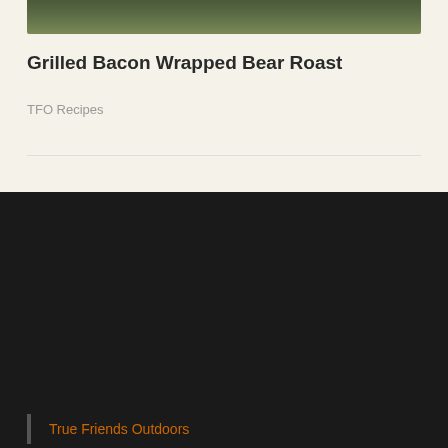[Figure (photo): Partial photo of outdoor nature scene with green foliage at top of card]
Grilled Bacon Wrapped Bear Roast
TFO Recipes
True Friends Outdoors
RECENT ARTICLES
MY FIRST MERRIAM....ALWAYS AN ADVENTURE
[Figure (photo): Blue image preview at bottom of page]